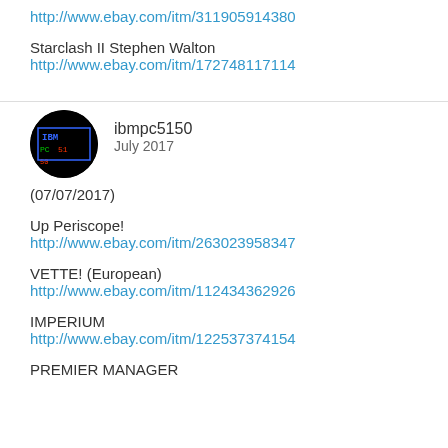http://www.ebay.com/itm/311905914380
Starclash II Stephen Walton
http://www.ebay.com/itm/172748117114
ibmpc5150
July 2017
(07/07/2017)
Up Periscope!
http://www.ebay.com/itm/263023958347
VETTE! (European)
http://www.ebay.com/itm/112434362926
IMPERIUM
http://www.ebay.com/itm/122537374154
PREMIER MANAGER